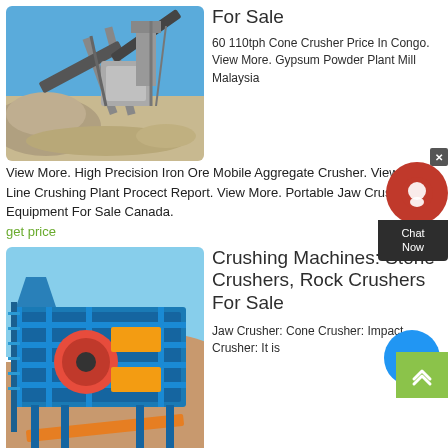[Figure (photo): Quarry crushing plant with conveyor belts and large stone crusher machinery against blue sky]
For Sale
60 110tph Cone Crusher Price In Congo. View More. Gypsum Powder Plant Mill Malaysia. View More. High Precision Iron Ore Mobile Aggregate Crusher. View More. Line Crushing Plant Procect Report. View More. Portable Jaw Crushing Equipment For Sale Canada.
get price
[Figure (photo): Large blue and yellow jaw crusher / crushing machine in a desert quarry setting]
Crushing Machines: Stone Crushers, Rock Crushers For Sale
Jaw Crusher: Cone Crusher: Impact Crusher: It is generally used as a primary crusher in a crushing circuit. Product